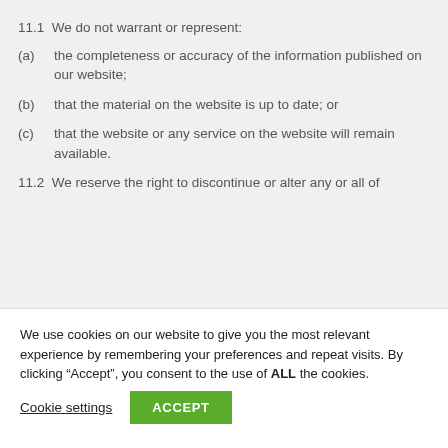11.1  We do not warrant or represent:
(a)    the completeness or accuracy of the information published on our website;
(b)    that the material on the website is up to date; or
(c)    that the website or any service on the website will remain available.
11.2  We reserve the right to discontinue or alter any or all of
We use cookies on our website to give you the most relevant experience by remembering your preferences and repeat visits. By clicking “Accept”, you consent to the use of ALL the cookies.
Cookie settings  ACCEPT